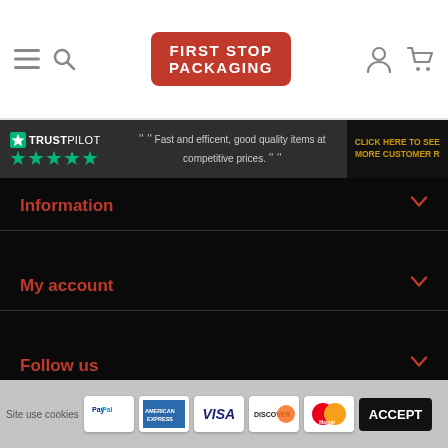[Figure (logo): First Stop Packaging logo — red rounded rectangle with white bold text]
[Figure (screenshot): Trustpilot bar with 5 green stars, quote 'Fast and efficent, good quality items at competitive prices.' and a dark CTA button 'CLICK HERE TO SEE MORE CUSTOMER R']
Information
My account
Follow us
Newsletter
2017 © First Stop Packaging
Site use cookies  ACCEPT